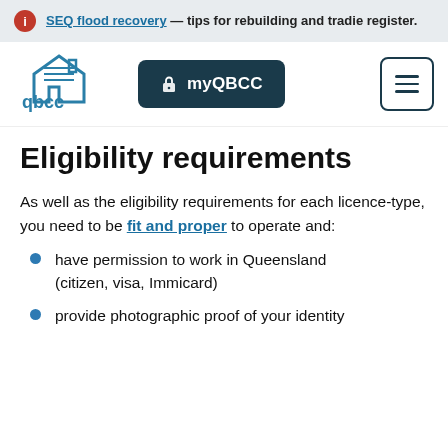SEQ flood recovery — tips for rebuilding and tradie register.
[Figure (logo): QBCC logo — stylized house icon above 'qbcc' text in teal/blue]
Eligibility requirements
As well as the eligibility requirements for each licence-type, you need to be fit and proper to operate and:
have permission to work in Queensland (citizen, visa, Immicard)
provide photographic proof of your identity